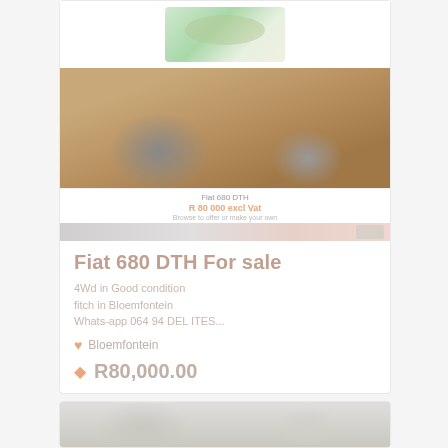[Figure (photo): Logo of a farm/tractor equipment dealer at top of listing card]
[Figure (photo): Photo of an orange Fiat 680 DTH tractor]
Fiat 680 DTH For sale
4Wd in Good condition
fitch in Bloemfontein
Whats-app 064 94 DEL ITES...
Bloemfontein
R80,000.00
[Figure (photo): Partial view of a second listing card at the bottom of the page]